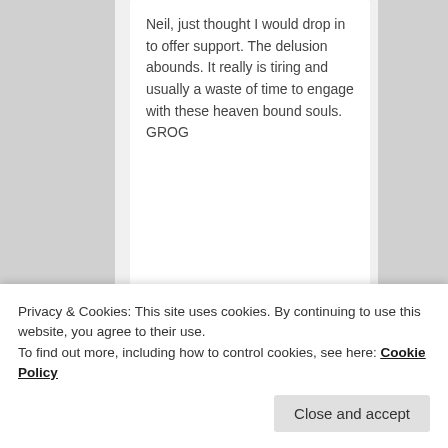Neil, just thought I would drop in to offer support. The delusion abounds. It really is tiring and usually a waste of time to engage with these heaven bound souls. GROG
Like
thaddeuskozinski
on September 19, 2018 at
Privacy & Cookies: This site uses cookies. By continuing to use this website, you agree to their use.
To find out more, including how to control cookies, see here: Cookie Policy
Close and accept